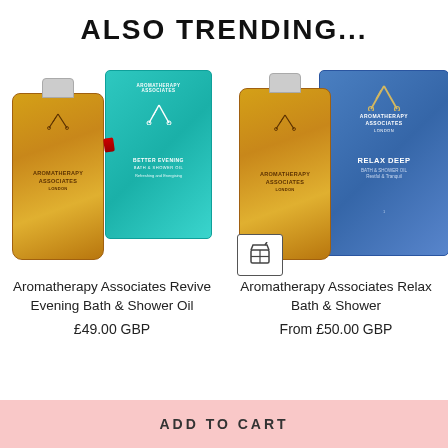ALSO TRENDING...
[Figure (photo): Aromatherapy Associates Revive Evening Bath & Shower Oil product photo showing a golden bottle and teal box]
[Figure (photo): Aromatherapy Associates Relax Bath & Shower Oil product photo showing a golden bottle and blue box]
Aromatherapy Associates Revive Evening Bath & Shower Oil
Aromatherapy Associates Relax Bath & Shower
£49.00 GBP
From £50.00 GBP
ADD TO CART